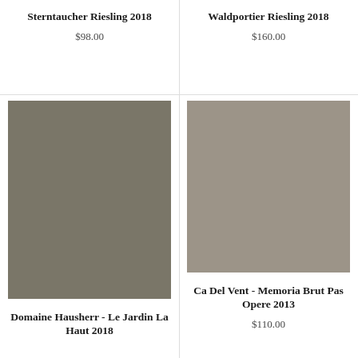Sterntaucher Riesling 2018
$98.00
Waldportier Riesling 2018
$160.00
[Figure (photo): Product image placeholder - dark olive/grey-green color swatch for Domaine Hausherr - Le Jardin La Haut 2018]
Domaine Hausherr - Le Jardin La Haut 2018
[Figure (photo): Product image placeholder - light taupe/grey color swatch for Ca Del Vent - Memoria Brut Pas Opere 2013]
Ca Del Vent - Memoria Brut Pas Opere 2013
$110.00